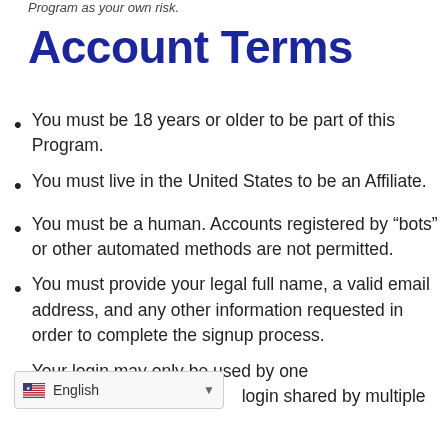Program as your own risk.
Account Terms
You must be 18 years or older to be part of this Program.
You must live in the United States to be an Affiliate.
You must be a human. Accounts registered by “bots” or other automated methods are not permitted.
You must provide your legal full name, a valid email address, and any other information requested in order to complete the signup process.
Your login may only be used by one login shared by multiple